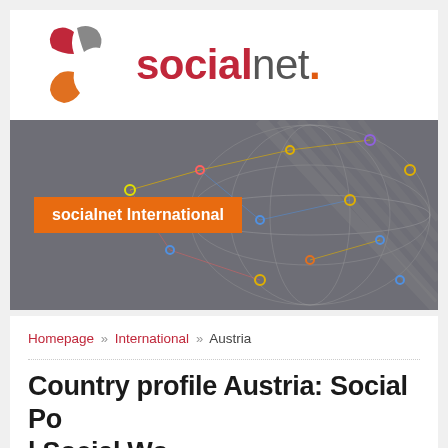[Figure (logo): socialnet logo with colorful pinwheel/star shape and text 'socialnet.' with red 'social', gray 'net', orange dot]
[Figure (photo): Dark banner with network globe visualization showing interconnected nodes with colored dots, and orange label 'socialnet International' overlaid]
Homepage » International » Austria
Country profile Austria: Social Po... l Social Wo...